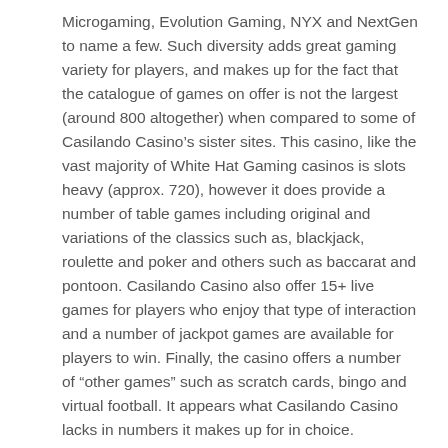Microgaming, Evolution Gaming, NYX and NextGen to name a few. Such diversity adds great gaming variety for players, and makes up for the fact that the catalogue of games on offer is not the largest (around 800 altogether) when compared to some of Casilando Casino's sister sites. This casino, like the vast majority of White Hat Gaming casinos is slots heavy (approx. 720), however it does provide a number of table games including original and variations of the classics such as, blackjack, roulette and poker and others such as baccarat and pontoon. Casilando Casino also offer 15+ live games for players who enjoy that type of interaction and a number of jackpot games are available for players to win. Finally, the casino offers a number of “other games” such as scratch cards, bingo and virtual football. It appears what Casilando Casino lacks in numbers it makes up for in choice.